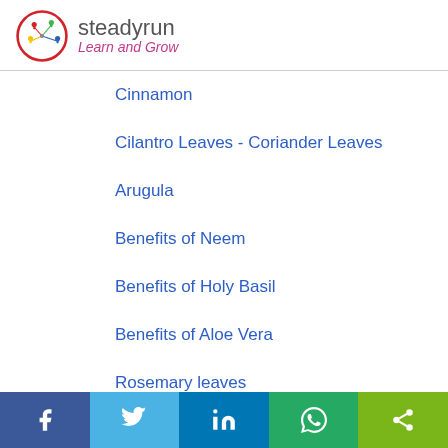[Figure (logo): Steadyrun logo — circular icon with colorful people figures and text 'steadyrun Learn and Grow']
Cinnamon
Cilantro Leaves - Coriander Leaves
Arugula
Benefits of Neem
Benefits of Holy Basil
Benefits of Aloe Vera
Rosemary leaves
Social share bar: Facebook, Twitter, LinkedIn, WhatsApp, Share